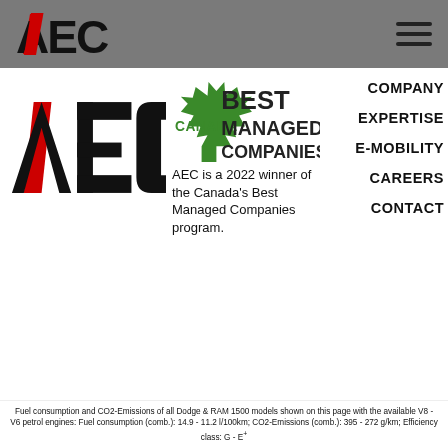AEC logo and hamburger menu
[Figure (logo): AEC company logo — large black stylized text AEC with red diagonal slash, shown in main content area]
[Figure (logo): Canada's Best Managed Companies logo — green maple leaf with CANADA text and BEST MANAGED COMPANIES in bold green]
AEC is a 2022 winner of the Canada's Best Managed Companies program.
COMPANY
EXPERTISE
E-MOBILITY
CAREERS
CONTACT
Fuel consumption and CO2-Emissions of all Dodge & RAM 1500 models shown on this page with the available V8 - V6 petrol engines: Fuel consumption (comb.): 14.9 - 11.2 l/100km; CO2-Emissions (comb.): 395 - 272 g/km; Efficiency class: G - E+